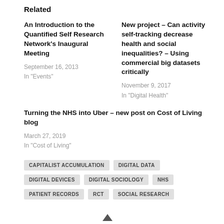Related
An Introduction to the Quantified Self Research Network's Inaugural Meeting
September 16, 2013
In "Events"
New project – Can activity self-tracking decrease health and social inequalities? – Using commercial big datasets critically
November 9, 2017
In "Digital Health"
Turning the NHS into Uber – new post on Cost of Living blog
March 27, 2019
In "Cost of Living"
CAPITALIST ACCUMULATION
DIGITAL DATA
DIGITAL DEVICES
DIGITAL SOCIOLOGY
NHS
PATIENT RECORDS
RCT
SOCIAL RESEARCH